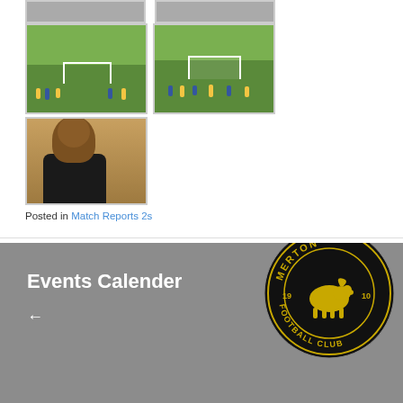[Figure (photo): Two small photos at the top (partially visible) — football/soccer related]
[Figure (photo): Two football field photos showing players on a green pitch with goalposts and trees in background]
[Figure (photo): Single photo of a man smiling, wearing a black jacket, indoors]
Posted in Match Reports 2s
[Figure (infographic): Merton Football Club events calendar banner with grey background, white bold text 'Events Calender', left arrow, and Merton FC circular badge (black circle with gold text and boar/animal logo, '1910')]